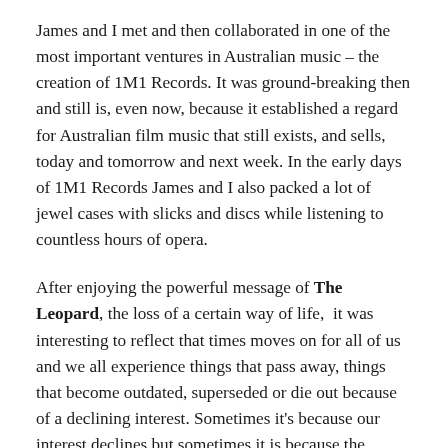James and I met and then collaborated in one of the most important ventures in Australian music – the creation of 1M1 Records. It was ground-breaking then and still is, even now, because it established a regard for Australian film music that still exists, and sells, today and tomorrow and next week. In the early days of 1M1 Records James and I also packed a lot of jewel cases with slicks and discs while listening to countless hours of opera.
After enjoying the powerful message of The Leopard, the loss of a certain way of life, it was interesting to reflect that times moves on for all of us and we all experience things that pass away, things that become outdated, superseded or die out because of a declining interest. Sometimes it's because our interest declines but sometimes it is because the priorities of the world have changed.